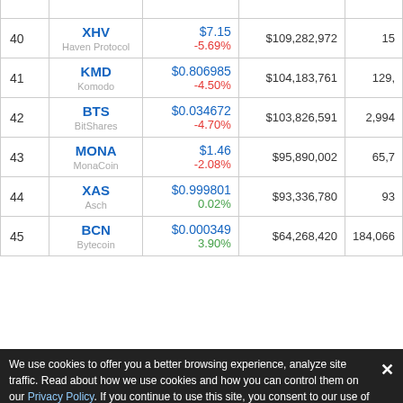| # | Name | Price | Market Cap | Volume (24h) |
| --- | --- | --- | --- | --- |
| 40 | XHV
Haven Protocol | $7.15
-5.69% | $109,282,972 | 15 |
| 41 | KMD
Komodo | $0.806985
-4.50% | $104,183,761 | 129, |
| 42 | BTS
BitShares | $0.034672
-4.70% | $103,826,591 | 2,994 |
| 43 | MONA
MonaCoin | $1.46
-2.08% | $95,890,002 | 65,7 |
| 44 | XAS
Asch | $0.999801
0.02% | $93,336,780 | 93 |
| 45 | BCN
Bytecoin | $0.000349
3.90% | $64,268,420 | 184,066 |
We use cookies to offer you a better browsing experience, analyze site traffic. Read about how we use cookies and how you can control them on our Privacy Policy. If you continue to use this site, you consent to our use of cookies.